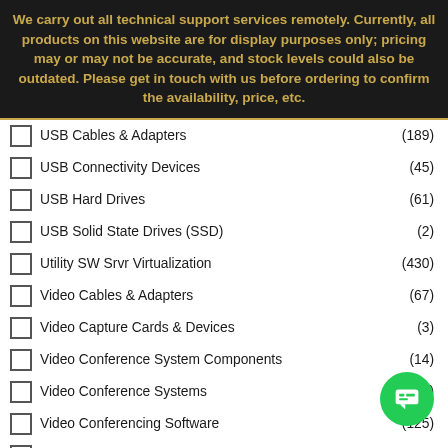We carry out all technical support services remotely. Currently, all products on this website are for display purposes only; pricing may or may not be accurate, and stock levels could also be outdated. Please get in touch with us before ordering to confirm the availability, price, etc.
USB Cables & Adapters (189)
USB Connectivity Devices (45)
USB Hard Drives (61)
USB Solid State Drives (SSD) (2)
Utility SW Srvr Virtualization (430)
Video Cables & Adapters (67)
Video Capture Cards & Devices (3)
Video Conference System Components (14)
Video Conference Systems (3)
Video Conferencing Software (125)
Video Switchboxes & Splitters (19)
Virtual Drive Software (16)
Virus Protection Software
VOIP Components
Wall Mount Racks/Enclosures (1)